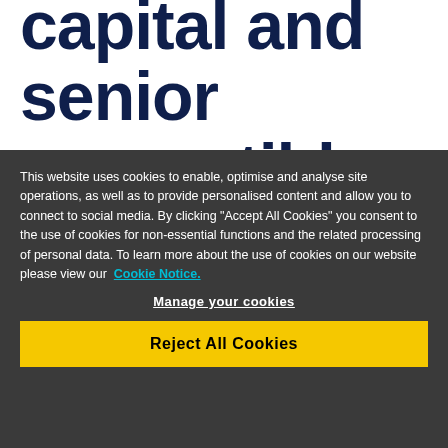capital and senior convertible bonds
This website uses cookies to enable, optimise and analyse site operations, as well as to provide personalised content and allow you to connect to social media. By clicking "Accept All Cookies" you consent to the use of cookies for non-essential functions and the related processing of personal data. To learn more about the use of cookies on our website please view our Cookie Notice.
Manage your cookies
Reject All Cookies